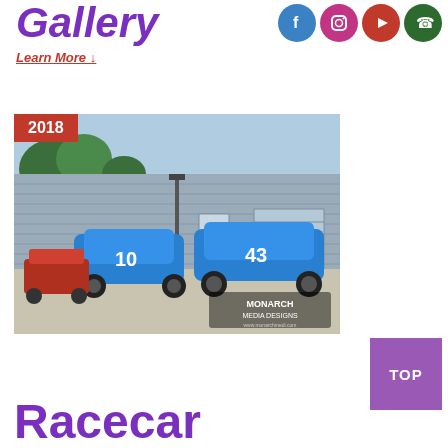Gallery
Learn More →
[Figure (photo): Two blue race cars numbered 10 and 43 parked in front of a grey metal building, with a go-kart in the foreground. A Monarch Media Designs watermark is visible in the lower right. Year badge shows 2018.]
TOP
Racecar